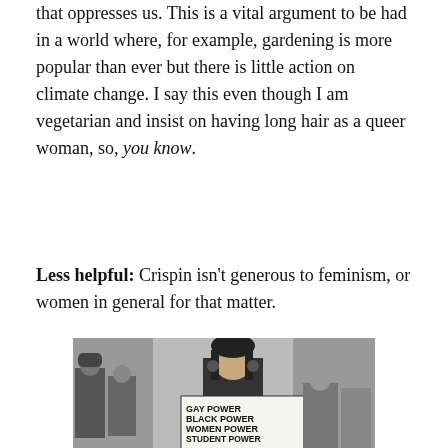that oppresses us. This is a vital argument to be had in a world where, for example, gardening is more popular than ever but there is little action on climate change. I say this even though I am vegetarian and insist on having long hair as a queer woman, so, you know.
Less helpful: Crispin isn't generous to feminism, or women in general for that matter.
[Figure (photo): Black and white photograph of a young woman at a protest holding a sign that reads 'GAY POWER / BLACK POWER / WOMEN POWER / STUDENT POWER / ALL POWER'. Police officers and other protesters are visible in the background.]